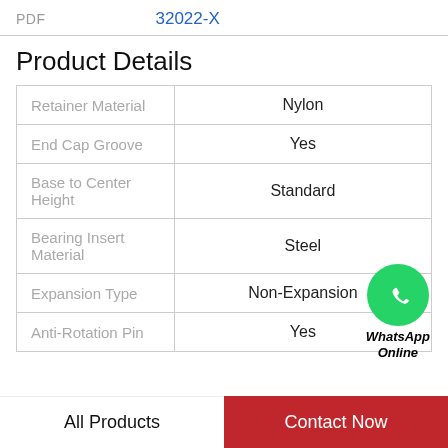PDF    32022-X
Product Details
| Property | Value |
| --- | --- |
| Retainer Material | Nylon |
| End Cap Groove | Yes |
| Base to Center Height | Standard |
| Bearing Insert Material | Steel |
| Expansion Type | Non-Expansion |
| Anti-Rotation Pin | Yes |
WhatsApp Online
All Products    Contact Now